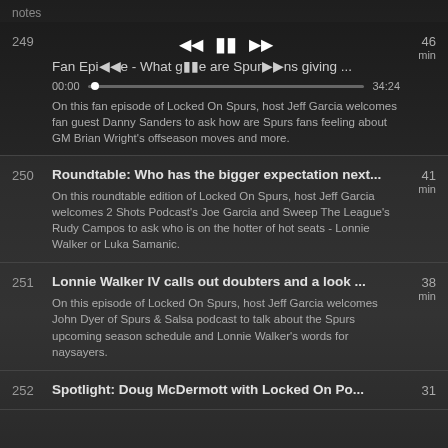notes
249 | Fan Episode - What gifts are Spurs fans giving ... | 46 min | 00:00 - 34:24 | On this fan episode of Locked On Spurs, host Jeff Garcia welcomes fan guest Danny Sanders to ask how are Spurs fans feeling about GM Brian Wright's offseason moves and more.
250 | Roundtable: Who has the bigger expectation next... | 41 min | On this roundtable edition of Locked On Spurs, host Jeff Garcia welcomes 2 Shots Podcast's Joe Garcia and Sweep The League's Rudy Campos to ask who is on the hotter of hot seats - Lonnie Walker or Luka Samanic.
251 | Lonnie Walker IV calls out doubters and a look ... | 38 min | On this episode of Locked On Spurs, host Jeff Garcia welcomes John Dyer of Spurs & Salsa podcast to talk about the Spurs upcoming season schedule and Lonnie Walker's words for naysayers.
252 | Spotlight: Doug McDermott with Locked On ... | 31